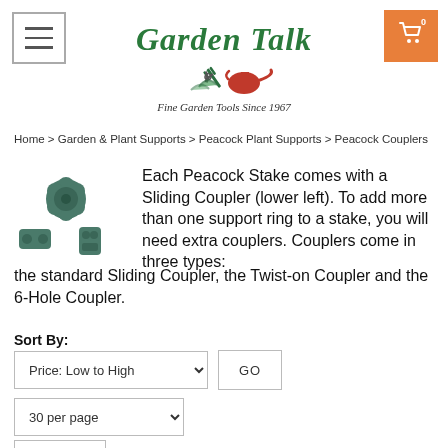[Figure (logo): Garden Talk logo with garden tools illustration and text 'Fine Garden Tools Since 1967']
Home > Garden & Plant Supports > Peacock Plant Supports > Peacock Couplers
Each Peacock Stake comes with a Sliding Coupler (lower left). To add more than one support ring to a stake, you will need extra couplers. Couplers come in three types: the standard Sliding Coupler, the Twist-on Coupler and the 6-Hole Coupler.
Sort By:
Price: Low to High
GO
30 per page